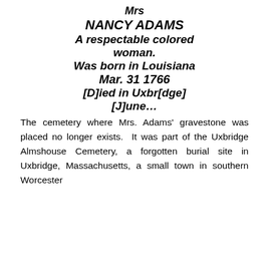Mrs
NANCY ADAMS
A respectable colored woman.
Was born in Louisiana
Mar. 31 1766
[D]ied in Uxbr[dge]
[J]une…
The cemetery where Mrs. Adams' gravestone was placed no longer exists.  It was part of the Uxbridge Almshouse Cemetery, a forgotten burial site in Uxbridge, Massachusetts, a small town in southern Worcester